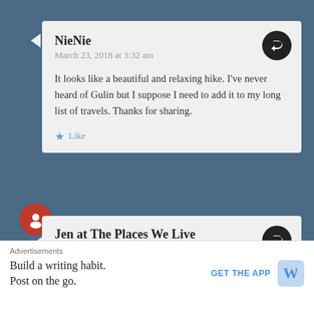NieNie
March 23, 2018 at 3:32 am
It looks like a beautiful and relaxing hike. I've never heard of Gulin but I suppose I need to add it to my long list of travels. Thanks for sharing.
Like
Jen at The Places We Live
March 23, 2018 at 4:02 am
Thank you! If you make it to China, Guilin should definitely be on your “Must” list. haha
Advertisements
Build a writing habit.
Post on the go.
GET THE APP